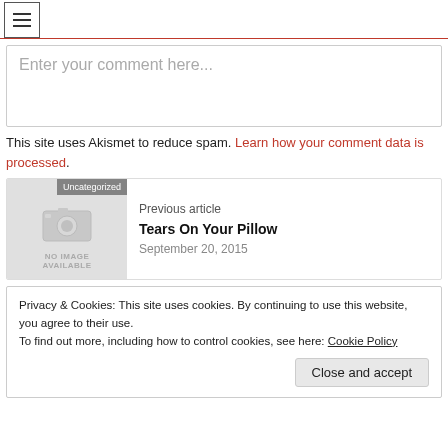Rules in Formal Info)
Enter your comment here...
This site uses Akismet to reduce spam. Learn how your comment data is processed.
[Figure (other): Previous article card with no-image placeholder, Uncategorized badge, title 'Tears On Your Pillow', date September 20, 2015]
Privacy & Cookies: This site uses cookies. By continuing to use this website, you agree to their use. To find out more, including how to control cookies, see here: Cookie Policy
Close and accept